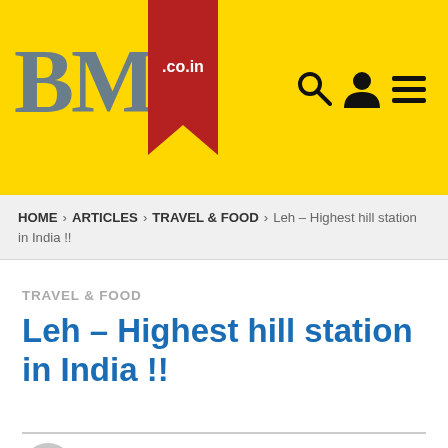[Figure (logo): BMS.co.in website logo on yellow background with red bookmark ribbon and navigation icons (search, user, menu)]
HOME > ARTICLES > TRAVEL & FOOD > Leh – Highest hill station in India !!
TRAVEL & FOOD
Leh – Highest hill station in India !!
by Ayesha Patel  8 years ago
76 views